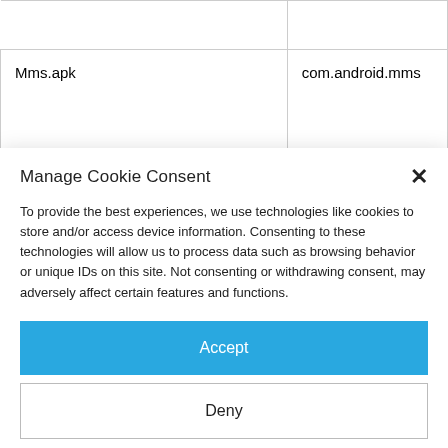|  |  |
| Mms.apk | com.android.mms |
|  |  |
Manage Cookie Consent
To provide the best experiences, we use technologies like cookies to store and/or access device information. Consenting to these technologies will allow us to process data such as browsing behavior or unique IDs on this site. Not consenting or withdrawing consent, may adversely affect certain features and functions.
Accept
Deny
Cookie Policy  Privacy Policy